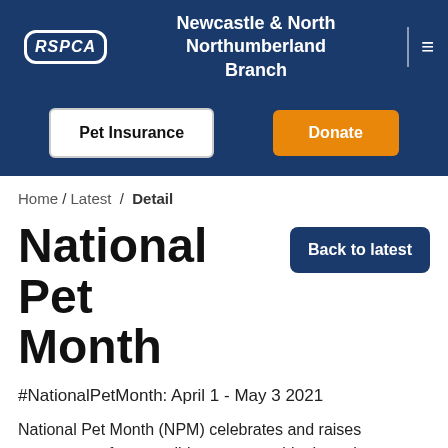RSPCA Newcastle & North Northumberland Branch
Pet Insurance | Donate
Home / Latest / Detail
National Pet Month
Back to latest
#NationalPetMonth: April 1 - May 3 2021
National Pet Month (NPM) celebrates and raises awareness of responsible pet ownership through